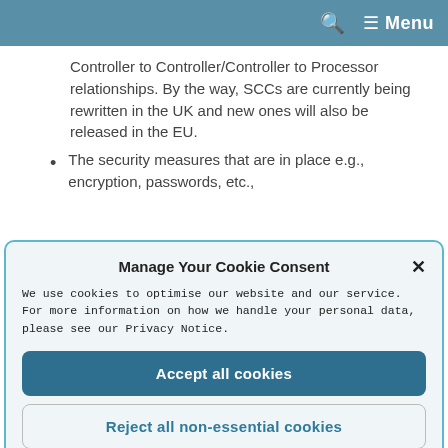Menu
Controller to Controller/Controller to Processor relationships. By the way, SCCs are currently being rewritten in the UK and new ones will also be released in the EU.
The security measures that are in place e.g., encryption, passwords, etc.,
Manage Your Cookie Consent
We use cookies to optimise our website and our service. For more information on how we handle your personal data, please see our Privacy Notice.
Accept all cookies
Reject all non-essential cookies